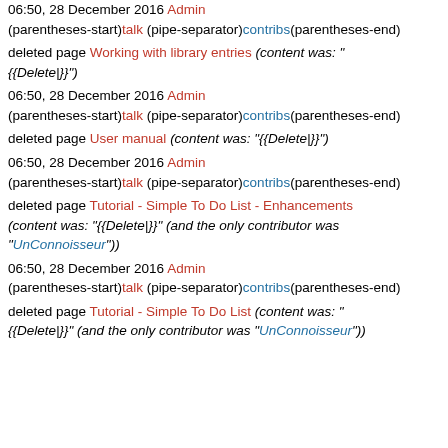06:50, 28 December 2016 Admin (parentheses-start)talk (pipe-separator)contribs(parentheses-end)
deleted page Working with library entries (content was: "{{Delete|}}")
06:50, 28 December 2016 Admin (parentheses-start)talk (pipe-separator)contribs(parentheses-end)
deleted page User manual (content was: "{{Delete|}}")
06:50, 28 December 2016 Admin (parentheses-start)talk (pipe-separator)contribs(parentheses-end)
deleted page Tutorial - Simple To Do List - Enhancements (content was: "{{Delete|}}" (and the only contributor was "UnConnoisseur"))
06:50, 28 December 2016 Admin (parentheses-start)talk (pipe-separator)contribs(parentheses-end)
deleted page Tutorial - Simple To Do List (content was: "{{Delete|}}" (and the only contributor was "UnConnoisseur"))